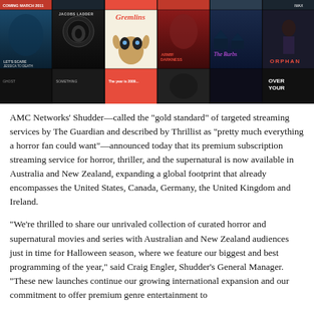[Figure (photo): A collage of horror movie posters including Let's Scare Jessica to Death, Jacob's Ladder, Gremlins, Army of Darkness, The Burbs, Orphan, and others on a dark background — Shudder streaming service promotional image.]
AMC Networks' Shudder—called the “gold standard” of targeted streaming services by The Guardian and described by Thrillist as “pretty much everything a horror fan could want”—announced today that its premium subscription streaming service for horror, thriller, and the supernatural is now available in Australia and New Zealand, expanding a global footprint that already encompasses the United States, Canada, Germany, the United Kingdom and Ireland.
“We’re thrilled to share our unrivaled collection of curated horror and supernatural movies and series with Australian and New Zealand audiences just in time for Halloween season, where we feature our biggest and best programming of the year,” said Craig Engler, Shudder’s General Manager. “These new launches continue our growing international expansion and our commitment to offer premium genre entertainment to